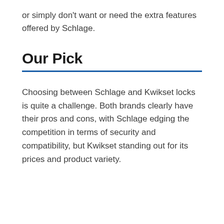or simply don't want or need the extra features offered by Schlage.
Our Pick
Choosing between Schlage and Kwikset locks is quite a challenge. Both brands clearly have their pros and cons, with Schlage edging the competition in terms of security and compatibility, but Kwikset standing out for its prices and product variety.